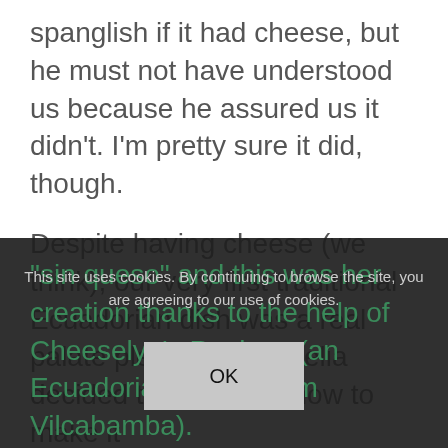spanglish if it had cheese, but he must not have understood us because he assured us it didn't. I'm pretty sure it did, though.
Despite having cheese (we think), our very first traditional Ecuadorian dish was a real palate pleaser! So Amelia decided to figure out how to make it "sin queso" and this was her creation thanks to the help of Cheeselyn's Recipes (an Ecuadorian native from Vilcabamba).
This site uses cookies. By continuing to browse the site, you are agreeing to our use of cookies.